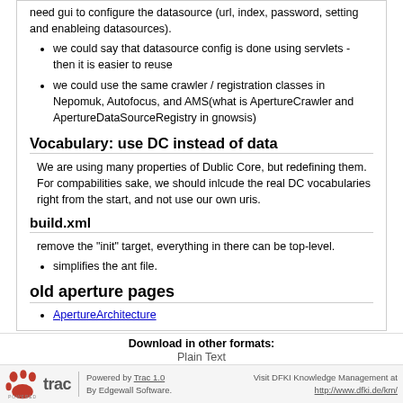need gui to configure the datasource (url, index, password, setting and enableing datasources).
we could say that datasource config is done using servlets - then it is easier to reuse
we could use the same crawler / registration classes in Nepomuk, Autofocus, and AMS(what is ApertureCrawler and ApertureDataSourceRegistry in gnowsis)
Vocabulary: use DC instead of data
We are using many properties of Dublic Core, but redefining them. For compabilities sake, we should inlcude the real DC vocabularies right from the start, and not use our own uris.
build.xml
remove the "init" target, everything in there can be top-level.
simplifies the ant file.
old aperture pages
ApertureArchitecture
Download in other formats: Plain Text
Powered by Trac 1.0 By Edgewall Software. Visit DFKI Knowledge Management at http://www.dfki.de/km/